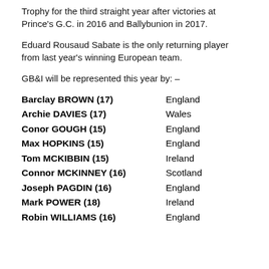Trophy for the third straight year after victories at Prince's G.C. in 2016 and Ballybunion in 2017.
Eduard Rousaud Sabate is the only returning player from last year's winning European team.
GB&I will be represented this year by: –
Barclay BROWN (17)   England
Archie DAVIES (17)   Wales
Conor GOUGH (15)   England
Max HOPKINS (15)   England
Tom MCKIBBIN (15)   Ireland
Connor MCKINNEY (16)   Scotland
Joseph PAGDIN (16)   England
Mark POWER (18)   Ireland
Robin WILLIAMS (16)   England